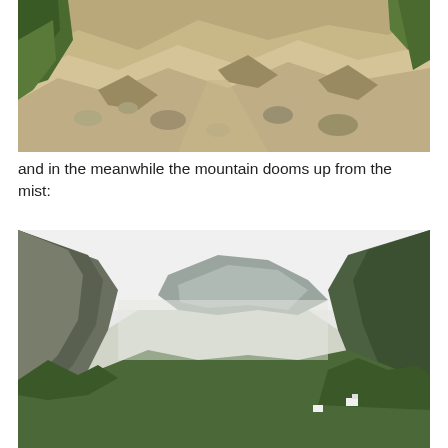[Figure (photo): Rocky mountain trail with large stones and boulders, surrounded by green shrubs and vegetation. The terrain is rough and stony with exposed rock faces.]
and in the meanwhile the mountain dooms up from the mist:
[Figure (photo): Mountain valley view showing steep forested mountain slopes on both sides with a mist-filled valley. A small white building is visible among the trees on the right side.]